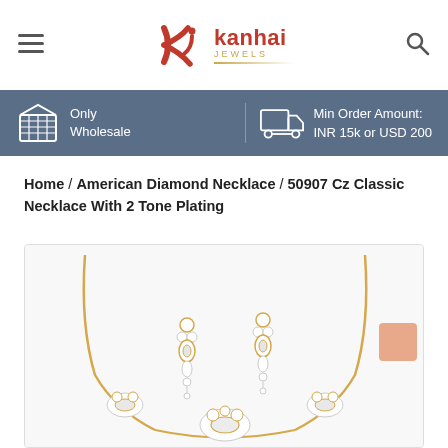kanhai jewels
Only Wholesale | Min Order Amount: INR 15k or USD 200
Home / American Diamond Necklace / 50907 Cz Classic Necklace With 2 Tone Plating
[Figure (photo): Product photo of a diamond necklace set with two-tone plating, including a necklace and a pair of dangling earrings with white and gold cubic zirconia stones on a white background.]